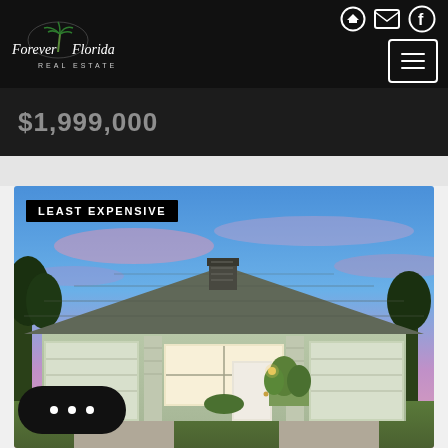[Figure (logo): Forever Florida Real Estate logo on black navbar with palm tree icon, navigation icons (login, email, Facebook), and hamburger menu button]
$1,999,000
[Figure (photo): Exterior photo of a single-story light green house with dark shingle roof, two-car garage, front window, entry door with plants, at twilight with blue and pink sky. Labeled LEAST EXPENSIVE.]